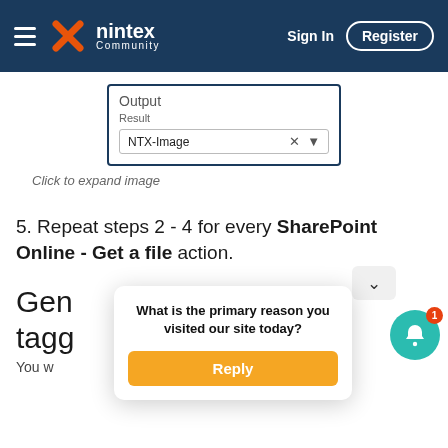nintex Community — Sign In | Register
[Figure (screenshot): Output section showing a dropdown field labeled 'Result' with value 'NTX-Image' selected, inside a blue-bordered configuration panel.]
Click to expand image
5. Repeat steps 2 - 4 for every SharePoint Online - Get a file action.
Gen... tagg...
You w...
[Figure (screenshot): Popup survey card asking 'What is the primary reason you visited our site today?' with a Reply button, and a teal notification bell with badge count 1.]